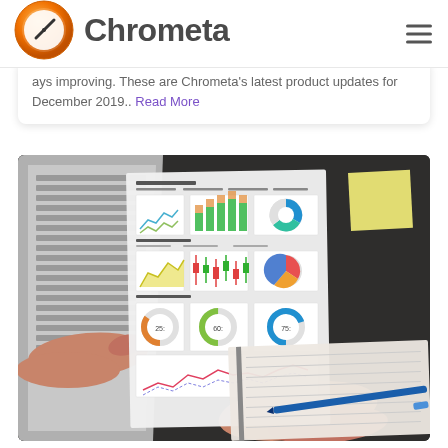Chrometa
ays improving. These are Chrometa's latest product updates for December 2019.. Read More
[Figure (photo): Photo of a laptop keyboard with hands, a business report paper showing charts (line charts, bar charts, pie charts, donut charts), a yellow sticky note, and a notebook with a blue pen on a dark desk surface.]